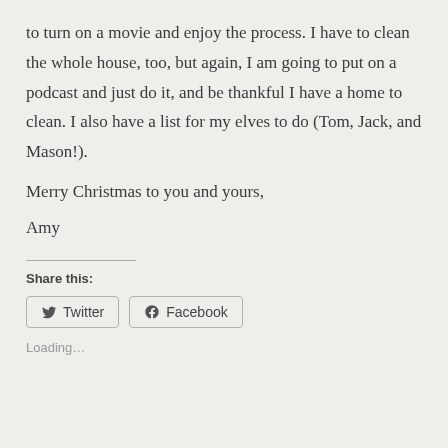to turn on a movie and enjoy the process. I have to clean the whole house, too, but again, I am going to put on a podcast and just do it, and be thankful I have a home to clean. I also have a list for my elves to do (Tom, Jack, and Mason!).
Merry Christmas to you and yours,
Amy
Share this:
Twitter   Facebook
Loading…